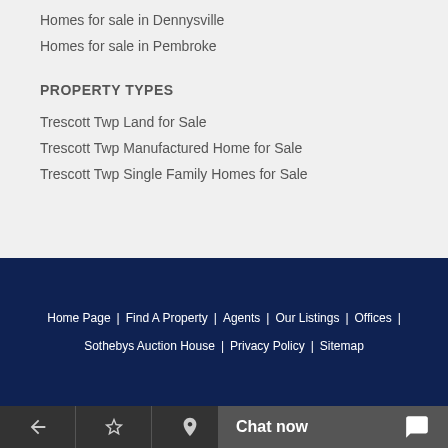Homes for sale in Dennysville
Homes for sale in Pembroke
PROPERTY TYPES
Trescott Twp Land for Sale
Trescott Twp Manufactured Home for Sale
Trescott Twp Single Family Homes for Sale
Home Page | Find A Property | Agents | Our Listings | Offices | Sothebys Auction House | Privacy Policy | Sitemap
Chat now